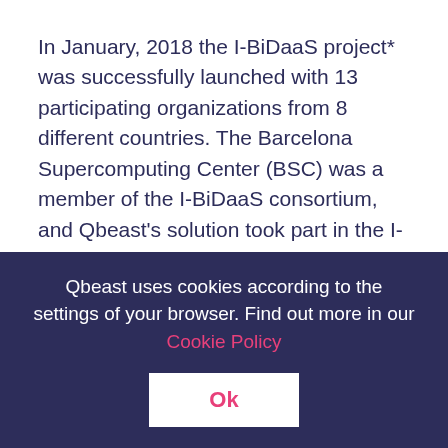In January, 2018 the I-BiDaaS project* was successfully launched with 13 participating organizations from 8 different countries. The Barcelona Supercomputing Center (BSC) was a member of the I-BiDaaS consortium, and Qbeast's solution took part in the I-BiDaaS platform as BSC's contribution. Telefonica participated as the organization leading the telecommunications use case, with the purpose being the use of big data to predict congestion points in the cellular network
Qbeast uses cookies according to the settings of your browser. Find out more in our Cookie Policy